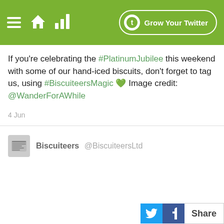Grow Your Twitter
If you’re celebrating the #PlatinumJubilee this weekend with some of our hand-iced biscuits, don't forget to tag us, using #BiscuiteersMagic 💚 Image credit: @WanderForAWhile
4 Jun
Biscuiteers @BiscuiteersLtd
Share